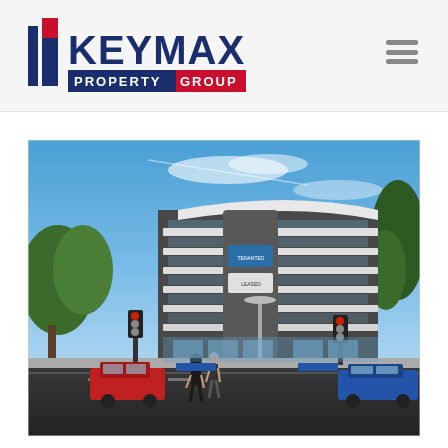Keymax Property Group - Header navigation bar
[Figure (logo): Keymax Property Group logo with two blue and red vertical stripe pillars on the left, KEYMAX in large dark navy text, and PROPERTY GROUP below in white text on a red and navy bar]
[Figure (photo): Exterior architectural rendering of a modern multi-storey commercial office building with curved white horizontal banding and large glass windows, traffic lights and pedestrians in foreground, blue sky background]